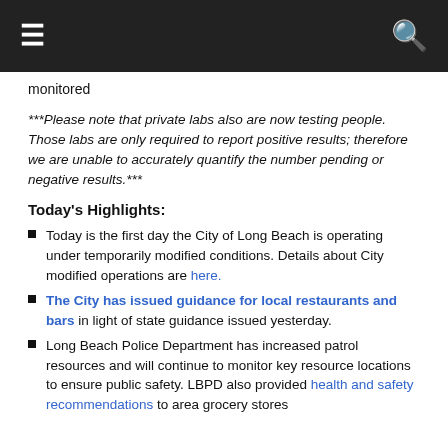≡ [navigation] 🔍 [search]
monitored
***Please note that private labs also are now testing people. Those labs are only required to report positive results; therefore we are unable to accurately quantify the number pending or negative results.***
Today's Highlights:
Today is the first day the City of Long Beach is operating under temporarily modified conditions. Details about City modified operations are here.
The City has issued guidance for local restaurants and bars in light of state guidance issued yesterday.
Long Beach Police Department has increased patrol resources and will continue to monitor key resource locations to ensure public safety. LBPD also provided health and safety recommendations to area grocery stores